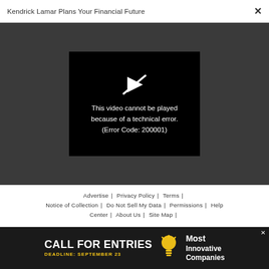Kendrick Lamar Plans Your Financial Future
[Figure (screenshot): Video player showing error message: This video cannot be played because of a technical error. (Error Code: 200001)]
Advertise | Privacy Policy | Terms | Notice of Collection | Do Not Sell My Data | Permissions | Help Center | About Us | Site Map | Fast Company & Inc © 2022 Mansueto Ventures, LLC
[Figure (photo): Advertisement banner: CALL FOR ENTRIES DEADLINE: SEPTEMBER 23 — Most Innovative Companies]